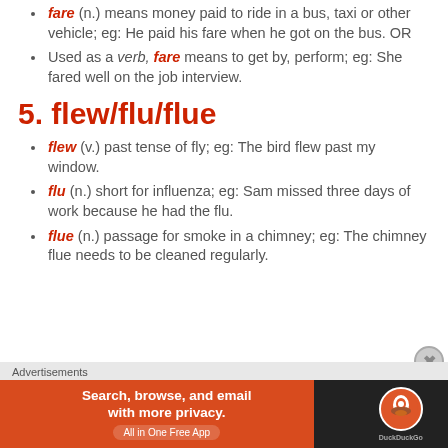fare (n.) means money paid to ride in a bus, taxi or other vehicle; eg: He paid his fare when he got on the bus. OR
Used as a verb, fare means to get by, perform; eg: She fared well on the job interview.
5. flew/flu/flue
flew (v.) past tense of fly; eg: The bird flew past my window.
flu (n.) short for influenza; eg: Sam missed three days of work because he had the flu.
flue (n.) passage for smoke in a chimney; eg: The chimney flue needs to be cleaned regularly.
Advertisements
[Figure (other): DuckDuckGo advertisement banner: Search, browse, and email with more privacy. All in One Free App]